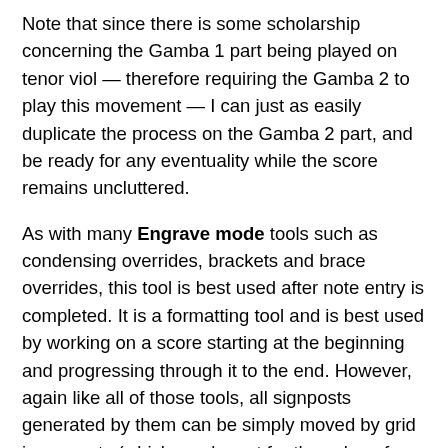Note that since there is some scholarship concerning the Gamba 1 part being played on tenor viol — therefore requiring the Gamba 2 to play this movement — I can just as easily duplicate the process on the Gamba 2 part, and be ready for any eventuality while the score remains uncluttered.
As with many Engrave mode tools such as condensing overrides, brackets and brace overrides, this tool is best used after note entry is completed. It is a formatting tool and is best used by working on a score starting at the beginning and progressing through it to the end. However, again like all of those tools, all signposts generated by them can be simply moved by grid increments (which can be set for the value of entire measures in most cases), so that changing one's mind in the process of editing with those tools is really quite painless as well as being extraordinarily comprehensive. This feature is therefore a most